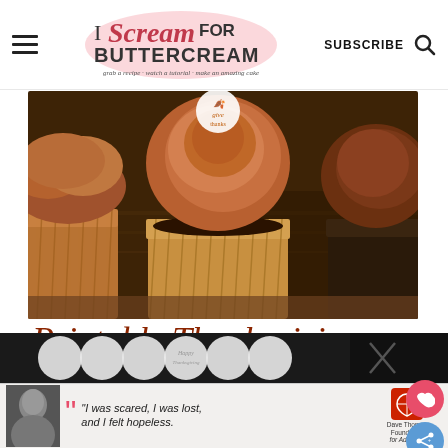I Scream for Buttercream — grab a recipe · watch a tutorial · make an amazing cake | SUBSCRIBE
[Figure (photo): Close-up photo of chocolate cupcakes with swirled chocolate-brown buttercream frosting in gold/brown cupcake liners on a wooden surface. A decorative topper is visible on the center cupcake.]
Printable Thanksgiving CUPCAKE TOPPERS
[Figure (photo): Bottom strip showing white circular cupcake topper decorations on dark background with text 'Happy Thanksgiving']
[Figure (photo): Advertisement banner: black and white photo of woman. Quote: 'I was scared, I was lost, and I felt hopeless.' Dave Thomas Foundation for Adoption logo.]